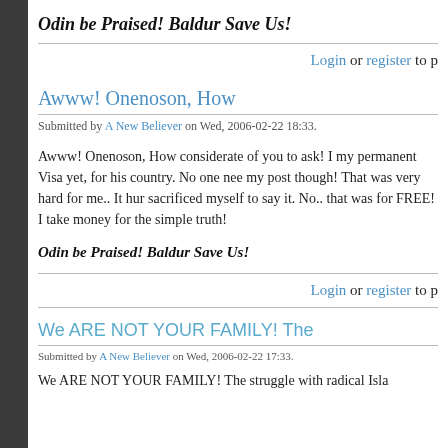Odin be Praised!  Baldur Save Us!
Login or register to p
Awww! Onenoson, How
Submitted by A New Believer on Wed, 2006-02-22 18:33.
Awww! Onenoson, How considerate of you to ask! I my permanent Visa yet, for his country. No one nee my post though! That was very hard for me.. It hur sacrificed myself to say it. No.. that was for FREE! I take money for the simple truth!
Odin be Praised!  Baldur Save Us!
Login or register to p
We ARE NOT YOUR FAMILY! The
Submitted by A New Believer on Wed, 2006-02-22 17:33.
We ARE NOT YOUR FAMILY! The struggle with radical Isla